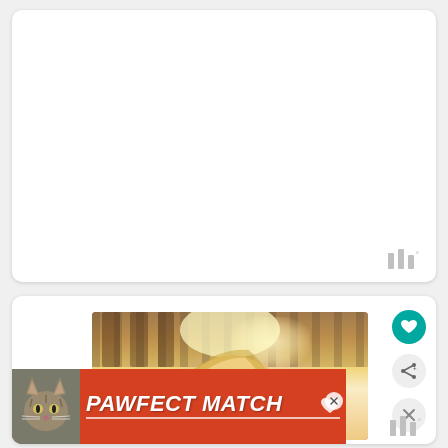[Figure (screenshot): Top white card, mostly blank/empty, with a watermark logo (three vertical bars with degree symbol) in the bottom-right corner]
[Figure (screenshot): Bottom white card showing: a photo of a person with blonde hair outdoors with wooden fence background and bright sunlight; side icons including a teal heart button, a share button, and a close/X button; an orange-red advertisement banner at the bottom reading PAWFECT MATCH with a cat image and heart icon; a close X button on the ad; a watermark logo in the bottom-right]
PAWFECT MATCH